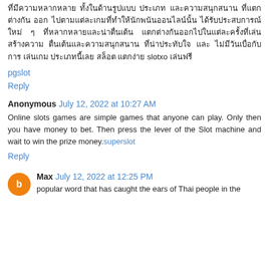ที่มีความหลากหลาย ทั้งในด้านรูปแบบ ประเภท และความสนุกสนาน ที่แตกต่างกัน ออก ไปตามแต่ละเกมที่ทำให้นักพนันออนไลน์นั้น ได้รับประสบการณ์ใหม่ ๆ ที่หลากหลายและน่าตื่นเต้น แตกต่างกันออกไปในแต่ละครั้งที่เล่น สร้างความ ตื่นเต้นและความสนุกสนาน ที่น่าประทับใจ และ ไม่มีวันเบื่อกับการ เล่นเกม ประเภทนี้เลย สล็อต แตกง่าย slotxo เล่นฟรี
pgslot
Reply
Anonymous July 12, 2022 at 10:27 AM
Online slots games are simple games that anyone can play. Only then you have money to bet. Then press the lever of the Slot machine and wait to win the prize money.superslot
Reply
Max July 12, 2022 at 12:25 PM
popular word that has caught the ears of Thai people in the